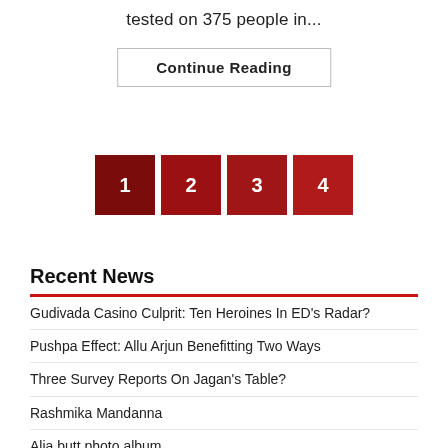tested on 375 people in...
Continue Reading
1
2
3
4
Recent News
Gudivada Casino Culprit: Ten Heroines In ED’s Radar?
Pushpa Effect: Allu Arjun Benefitting Two Ways
Three Survey Reports On Jagan’s Table?
Rashmika Mandanna
Alia butt photo album
T’gana Congress rebel MLA asked to stay or quit